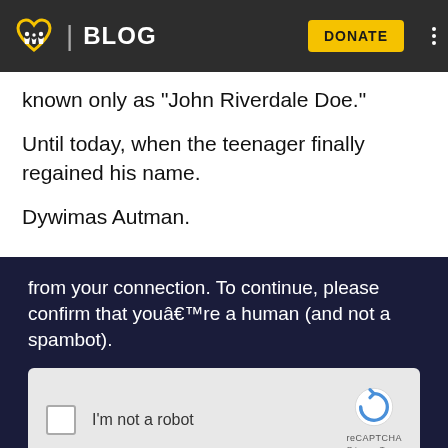BLOG | DONATE
known only as “John Riverdale Doe.”
Until today, when the teenager finally regained his name.
Dywimas Autman.
[Figure (screenshot): Screenshot of a CAPTCHA verification overlay on a dark navy background. Text reads: 'from your connection. To continue, please confirm that youâ€™re a human (and not a spambot).' Below is a reCAPTCHA widget with a checkbox labeled 'I’m not a robot' and the reCAPTCHA logo with Privacy and Terms links.]